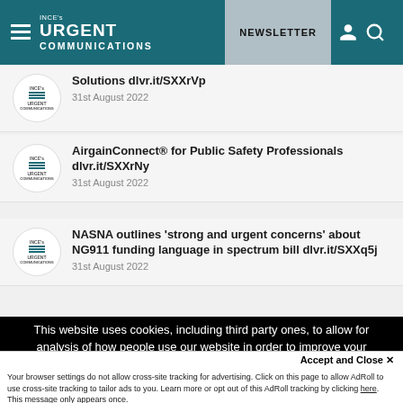INCE's URGENT COMMUNICATIONS — NEWSLETTER
Solutions dlvr.it/SXXrVp — 31st August 2022
AirgainConnect® for Public Safety Professionals dlvr.it/SXXrNy — 31st August 2022
NASNA outlines 'strong and urgent concerns' about NG911 funding language in spectrum bill dlvr.it/SXXq5j — 31st August 2022
This website uses cookies, including third party ones, to allow for analysis of how people use our website in order to improve your experience and our services. By continuing to use our website, you agree to the use of such cookies. Click here for more information on our Cookie Policy and Privacy Policy.
Accept and Close ✕
Your browser settings do not allow cross-site tracking for advertising. Click on this page to allow AdRoll to use cross-site tracking to tailor ads to you. Learn more or opt out of this AdRoll tracking by clicking here. This message only appears once.